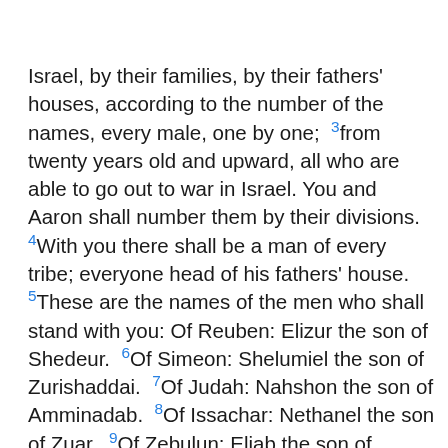Israel, by their families, by their fathers' houses, according to the number of the names, every male, one by one; 3from twenty years old and upward, all who are able to go out to war in Israel. You and Aaron shall number them by their divisions. 4With you there shall be a man of every tribe; everyone head of his fathers' house. 5These are the names of the men who shall stand with you: Of Reuben: Elizur the son of Shedeur. 6Of Simeon: Shelumiel the son of Zurishaddai. 7Of Judah: Nahshon the son of Amminadab. 8Of Issachar: Nethanel the son of Zuar. 9Of Zebulun: Eliab the son of Helon. 10Of the sons of Joseph: Of Ephraim: Elishama the son of Ammihud. Of Manasseh: Gamaliel the son of Pedahzur. 11Of Benjamin: Abidan the son of Gideoni. 12Of Dan: Ahiezer the son of Ammishaddai. 13Of Asher: Pagiel the son of Ochran. 14Of Gad: Eliasaph the son of Deuel. 15Of Naphtali: Ahira the son of Enan.